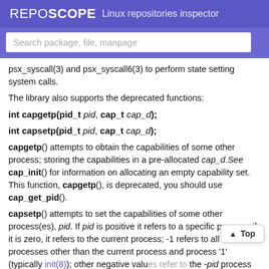REPOSCOPE  Linux repositories inspector
Search package, file, manpage
psx_syscall(3) and psx_syscall6(3) to perform state setting system calls.
The library also supports the deprecated functions:
int capgetp(pid_t pid, cap_t cap_d);
int capsetp(pid_t pid, cap_t cap_d);
capgetp() attempts to obtain the capabilities of some other process; storing the capabilities in a pre-allocated cap_d.See cap_init() for information on allocating an empty capability set. This function, capgetp(), is deprecated, you should use cap_get_pid().
capsetp() attempts to set the capabilities of some other process(es), pid. If pid is positive it refers to a specific process; if it is zero, it refers to the current process; -1 refers to all processes other than the current process and process '1' (typically init(8)); other negative values refer to the -pid process group. In order to use this function, the kernel must support it and the current process must have CAP_SETPCAP raised in its Effective capability set. The capabilities set in the target process(es) are those